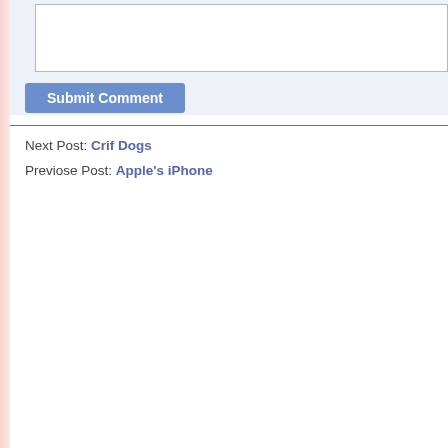[Figure (screenshot): Partial web page screenshot showing a comment submission form area with a text input box and a 'Submit Comment' button on a light blue-grey background, followed by a horizontal divider line and navigation links.]
Next Post: Crif Dogs
Previose Post: Apple's iPhone